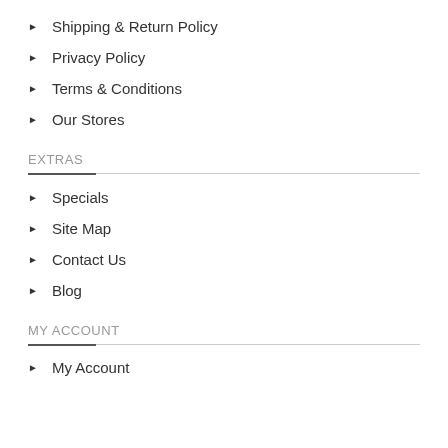Shipping & Return Policy
Privacy Policy
Terms & Conditions
Our Stores
EXTRAS
Specials
Site Map
Contact Us
Blog
MY ACCOUNT
My Account